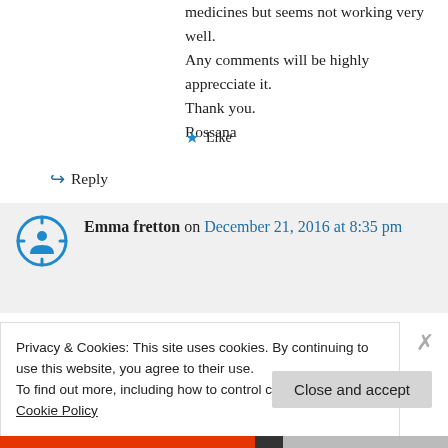medicines but seems not working very well. Any comments will be highly apprecciate it. Thank you. Rossana
★ Like
↪ Reply
Emma fretton on December 21, 2016 at 8:35 pm
Privacy & Cookies: This site uses cookies. By continuing to use this website, you agree to their use. To find out more, including how to control cookies, see here: Cookie Policy
Close and accept